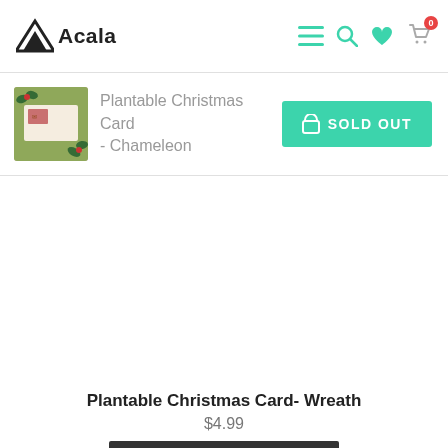Acala
Plantable Christmas Card - Chameleon
SOLD OUT
Plantable Christmas Card- Wreath
$4.99